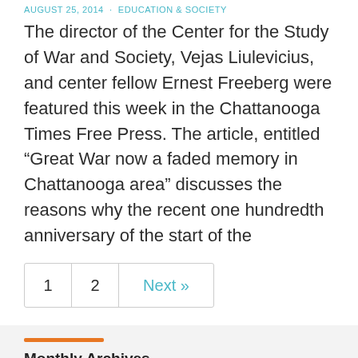AUGUST 25, 2014 · EDUCATION & SOCIETY
The director of the Center for the Study of War and Society, Vejas Liulevicius, and center fellow Ernest Freeberg were featured this week in the Chattanooga Times Free Press. The article, entitled “Great War now a faded memory in Chattanooga area” discusses the reasons why the recent one hundredth anniversary of the start of the
1  2  Next »
Monthly Archives
Select Month